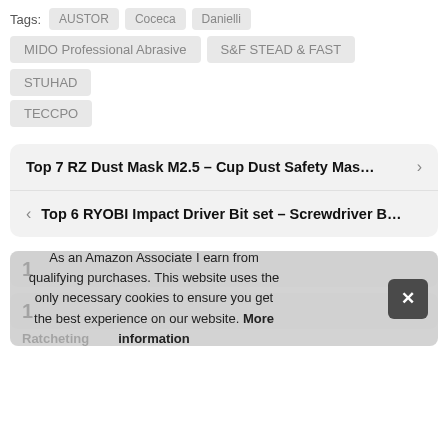Tags: AUSTOR  Coceca  Danielli
MIDO Professional Abrasive
S&F STEAD & FAST
STUHAD
TECCPO
Top 7 RZ Dust Mask M2.5 – Cup Dust Safety Mas...
Top 6 RYOBI Impact Driver Bit set – Screwdriver B...
As an Amazon Associate I earn from qualifying purchases. This website uses the only necessary cookies to ensure you get the best experience on our website. More information